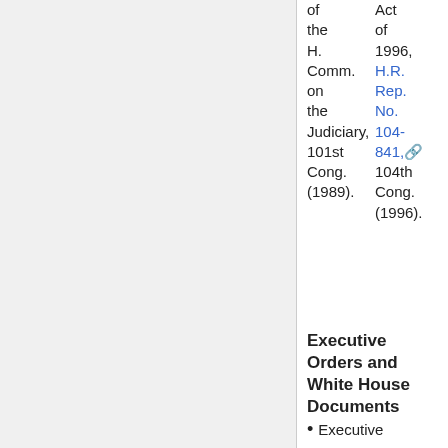of the H. Comm. on the Judiciary, 101st Cong. (1989).
Act of 1996, H.R. Rep. No. 104-841, 104th Cong. (1996).
Executive Orders and White House Documents
Executive